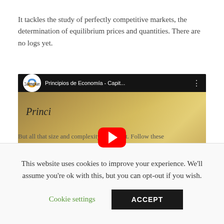It tackles the study of perfectly competitive markets, the determination of equilibrium prices and quantities. There are no logs yet.
[Figure (screenshot): YouTube video thumbnail for 'Principios de Economía - Capit...' by Campus channel. Shows a book cover with 'Economía' in large text. Red play button overlay in center.]
But all that size and complexity has a cost. Follow these
This website uses cookies to improve your experience. We'll assume you're ok with this, but you can opt-out if you wish.